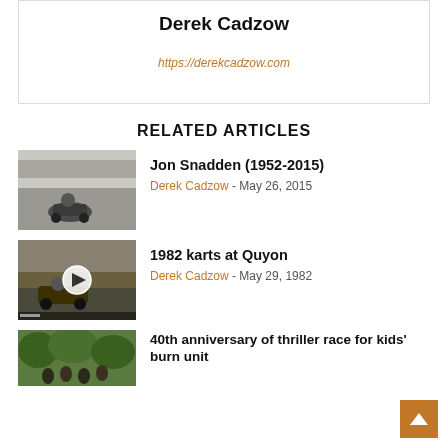Derek Cadzow
https://derekcadzow.com
RELATED ARTICLES
[Figure (photo): Black and white photo of a go-kart racing on a dirt track with trees in the background]
Jon Snadden (1952-2015)
Derek Cadzow - May 26, 2015
[Figure (screenshot): Video thumbnail of a go-kart racer on a track with a play button overlay]
1982 karts at Quyon
Derek Cadzow - May 29, 1982
[Figure (photo): Color photo showing people gathered outdoors near trees]
40th anniversary of thriller race for kids' burn unit